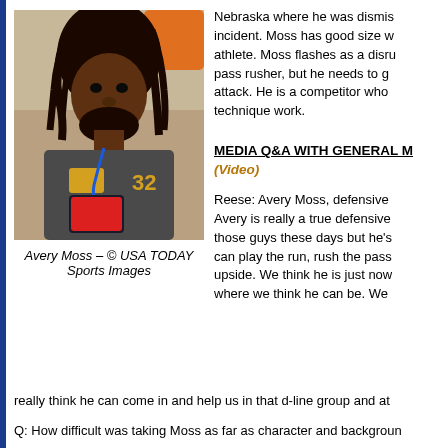[Figure (photo): Photo of Avery Moss, a football player with dreadlocks wearing an Under Armour hoodie and a blue lanyard with number 32, holding a phone at what appears to be an NFL Combine or scouting event.]
Avery Moss – © USA TODAY Sports Images
Nebraska where he was dismis incident. Moss has good size w athlete. Moss flashes as a disru pass rusher, but he needs to g attack. He is a competitor who technique work.
MEDIA Q&A WITH GENERAL M
(Video)
Reese: Avery Moss, defensive Avery is really a true defensive those guys these days but he's can play the run, rush the pass upside. We think he is just now where we think he can be. We
really think he can come in and help us in that d-line group and at
Q: How difficult was taking Moss as far as character and backgroun